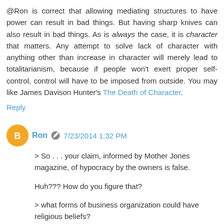@Ron is correct that allowing mediating structures to have power can result in bad things. But having sharp knives can also result in bad things. As is always the case, it is character that matters. Any attempt to solve lack of character with anything other than increase in character will merely lead to totalitarianism, because if people won't exert proper self-control, control will have to be imposed from outside. You may like James Davison Hunter's The Death of Character.
Reply
Ron 7/23/2014 1:32 PM
> So . . . your claim, informed by Mother Jones magazine, of hypocracy by the owners is false.
Huh??? How do you figure that?
> what forms of business organization could have religious beliefs?